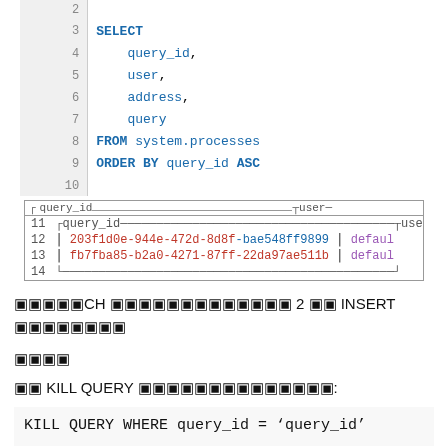[Figure (screenshot): SQL code block with line numbers showing SELECT query from system.processes with ORDER BY clause, followed by a result table showing two UUID rows]
󿿿󿿿󿿿󿿿󿿿CH 󿿿󿿿󿿿󿿿󿿿󿿿󿿿󿿿󿿿󿿿󿿿󿿿 2 󿿿󿿿 INSERT 󿿿󿿿󿿿󿿿󿿿󿿿󿿿
󿿿󿿿󿿿󿿿
󿿿󿿿 KILL QUERY 󿿿󿿿󿿿󿿿󿿿󿿿󿿿󿿿󿿿󿿿󿿿󿿿:
KILL QUERY WHERE query_id = ‘query_id’
󿿿󿿿󿿿󿿿󿿿󿿿󿿿󿿿 INSERT 󿿿󿿿: